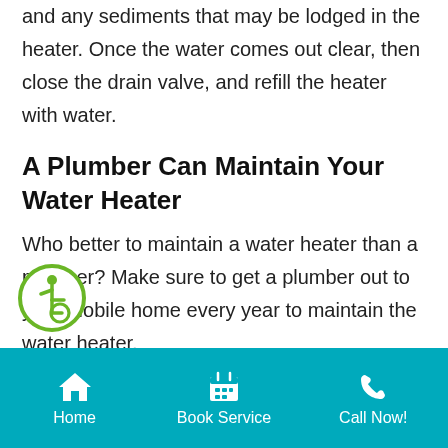cold water supply to flush out the water heater and any sediments that may be lodged in the heater. Once the water comes out clear, then close the drain valve, and refill the heater with water.
A Plumber Can Maintain Your Water Heater
Who better to maintain a water heater than a plumber? Make sure to get a plumber out to your Mobile home every year to maintain the water heater.
[Figure (logo): Accessibility wheelchair icon in a green circle]
Home | Book Service | Call Now!